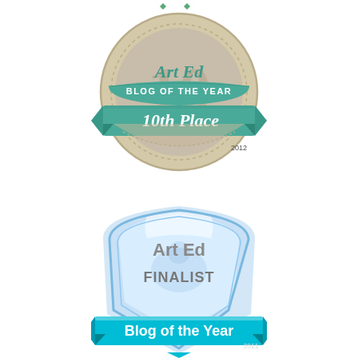[Figure (illustration): Art Ed Blog of the Year 10th Place 2012 circular badge with teal ribbon and tan/beige circle background with dashed border ring]
[Figure (illustration): Art Ed Finalist Blog of the Year 2011 shield/crest badge with blue glossy shield shape and cyan ribbon banner at bottom]